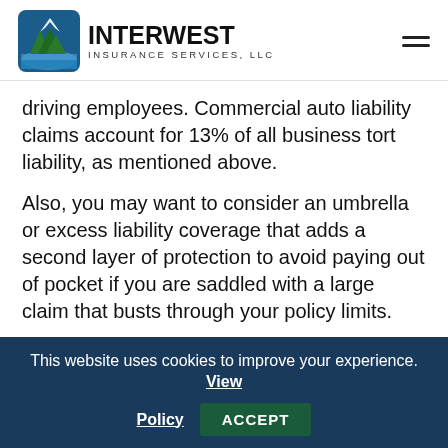InterWest Insurance Services, LLC
driving employees. Commercial auto liability claims account for 13% of all business tort liability, as mentioned above.
Also, you may want to consider an umbrella or excess liability coverage that adds a second layer of protection to avoid paying out of pocket if you are saddled with a large claim that busts through your policy limits.
Be warned: General liability policies do not
This website uses cookies to improve your experience. View Policy ACCEPT